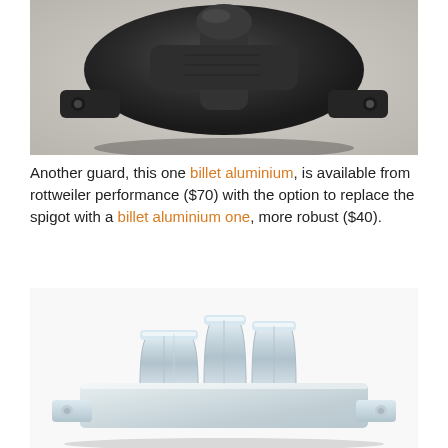[Figure (photo): Close-up photo of a black billet aluminium engine guard component with mounting flanges, shot against a light grey background]
Another guard, this one billet aluminium, is available from rottweiler performance ($70) with the option to replace the spigot with a billet aluminium one, more robust ($40).
[Figure (photo): Photo of a chrome/silver metallic engine guard bracket with stepped ridges and mounting holes at corners, against a white background]